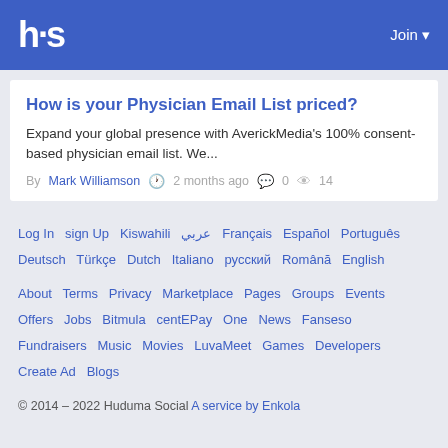hs   Join
How is your Physician Email List priced?
Expand your global presence with AverickMedia's 100% consent-based physician email list. We...
By Mark Williamson  2 months ago  0  14
Log In  sign Up  Kiswahili  عربي  Français  Español  Português  Deutsch  Türkçe  Dutch  Italiano  русский  Română  English
About  Terms  Privacy  Marketplace  Pages  Groups  Events  Offers  Jobs  Bitmula  centEPay  One  News  Fanseso  Fundraisers  Music  Movies  LuvaMeet  Games  Developers  Create Ad  Blogs
© 2014 – 2022 Huduma Social  A service by Enkola